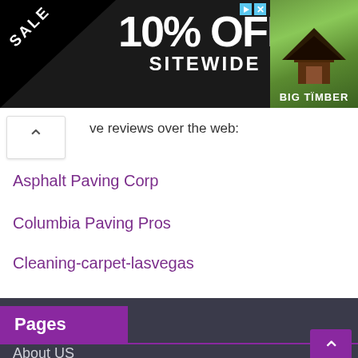[Figure (screenshot): Advertisement banner: 10% OFF SITEWIDE sale, SHOP NOW, ENDS 8/31, BIG TIMBER with gazebo image]
ve reviews over the web:
Asphalt Paving Corp
Columbia Paving Pros
Cleaning-carpet-lasvegas
Trusted RV Loans
Pages
About US
Contact Us